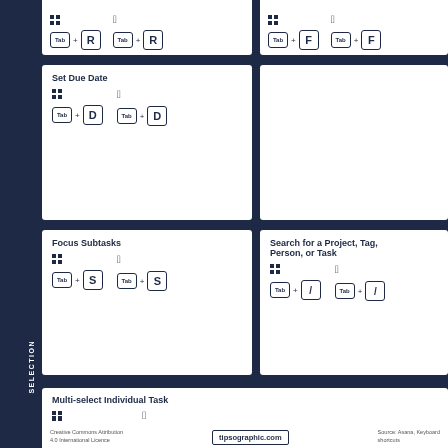[Figure (infographic): Partial top card showing keyboard shortcuts with Tab+R keys (Windows and Mac)]
[Figure (infographic): Partial top-right card showing keyboard shortcuts with Tab+F keys]
[Figure (infographic): Set Due Date shortcut card: Windows: Tab+D, Mac: Tab+D]
[Figure (infographic): Empty white card top-right]
[Figure (infographic): Focus Subtasks shortcut card: Windows: Tab+S, Mac: Tab+S]
[Figure (infographic): Search for a Project, Tag, Person, or Task shortcut card: Windows: Tab+/, Mac: Tab+/]
[Figure (infographic): SELECTION section - Multi-select Individual Task: Windows: Ctrl+Click, Mac: Cmd+Click]
Creative Commons Attribution 4.0 International Licence   tipsographic.com   Source: Asana, Keyboard shortcuts